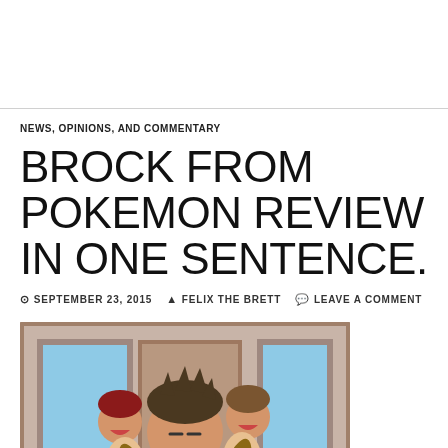NEWS, OPINIONS, AND COMMENTARY
BROCK FROM POKEMON REVIEW IN ONE SENTENCE.
SEPTEMBER 23, 2015   FELIX THE BRETT   LEAVE A COMMENT
[Figure (photo): Anime screenshot of Brock from Pokemon surrounded by several young children clinging to him, indoor scene with blue sky visible through window in background]